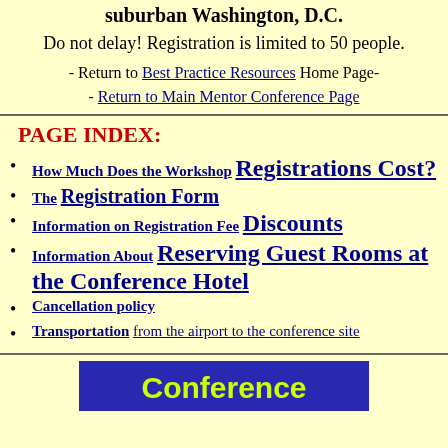suburban Washington, D.C.
Do not delay! Registration is limited to 50 people.
- Return to Best Practice Resources Home Page-
- Return to Main Mentor Conference Page
PAGE INDEX:
How Much Does the Workshop Registrations Cost?
The Registration Form
Information on Registration Fee Discounts
Information About Reserving Guest Rooms at the Conference Hotel
Cancellation policy
Transportation from the airport to the conference site
Conference